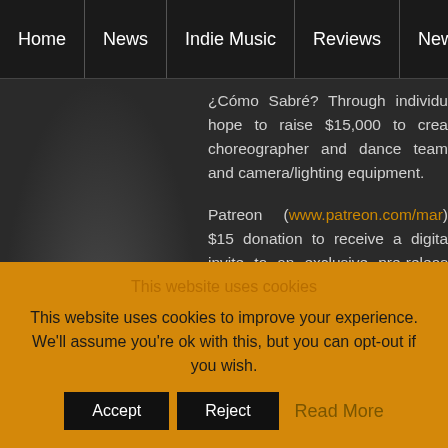Home | News | Indie Music | Reviews | New Releases
¿Cómo Sabré? Through individu hope to raise $15,000 to crea choreographer and dance team and camera/lighting equipment.

Patreon (www.patreon.com/mar $15 donation to receive a digita invite to an exclusive pre-releas out on social media and an in donation includes a digital do Patreon spreads out the payme
This website uses cookies
This website uses cookies to improve your experience. We'll assume you're ok with this, but you can opt-out if you wish.
Accept | Reject | Read More